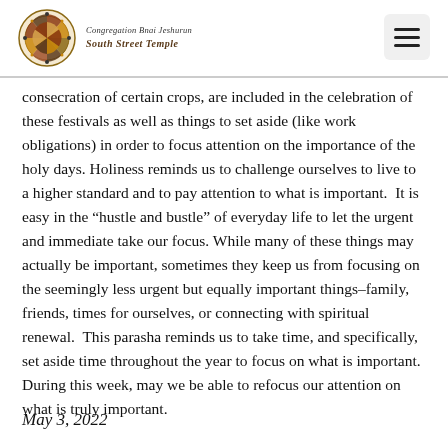Congregation Bnai Jeshurun South Street Temple
consecration of certain crops, are included in the celebration of these festivals as well as things to set aside (like work obligations) in order to focus attention on the importance of the holy days. Holiness reminds us to challenge ourselves to live to a higher standard and to pay attention to what is important.  It is easy in the “hustle and bustle” of everyday life to let the urgent and immediate take our focus. While many of these things may actually be important, sometimes they keep us from focusing on the seemingly less urgent but equally important things–family, friends, times for ourselves, or connecting with spiritual renewal.  This parasha reminds us to take time, and specifically, set aside time throughout the year to focus on what is important. During this week, may we be able to refocus our attention on what is truly important.
May 3, 2022